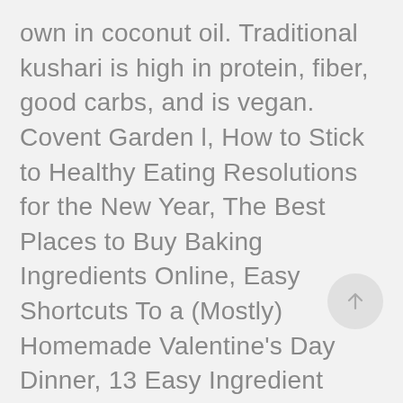own in coconut oil. Traditional kushari is high in protein, fiber, good carbs, and is vegan. Covent Garden l, How to Stick to Healthy Eating Resolutions for the New Year, The Best Places to Buy Baking Ingredients Online, Easy Shortcuts To a (Mostly) Homemade Valentine's Day Dinner, 13 Easy Ingredient Swaps for Healthier Cooking, Easy Low Sugar Breakfast Recipes to Start Your Day Off Right, Keep Your Gut Healthy with These Probiotic-Heavy Foods, The Most Comprehensive Guide to Yogurt You'll Find on the Internet, 9 Baking Mistakes That Ruin Your Cakes, Cookies, Brownies & Bread, How to Clean Your Dingy Baking Sheets So They Look Like New